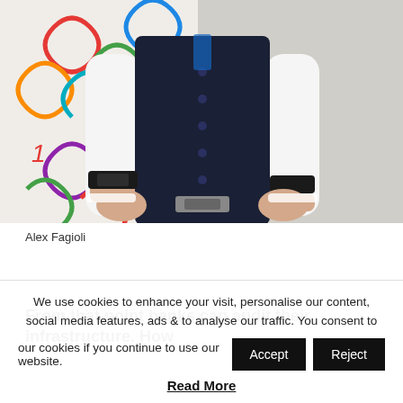[Figure (photo): A man wearing a dark navy vest over a white long-sleeve shirt, hands at waist level, standing in front of a colorful background with loops and numbers pattern.]
Alex Fagioli
From that point banks can audit their infrastructure. How
We use cookies to enhance your visit, personalise our content, social media features, ads & to analyse our traffic. You consent to our cookies if you continue to use our website.
Accept
Reject
Read More